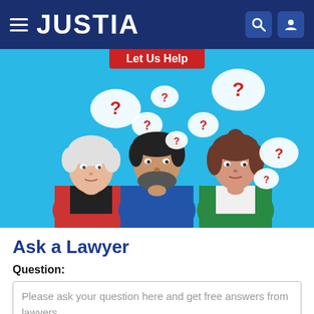JUSTIA
[Figure (illustration): Hero banner with light blue background showing three people with question mark speech bubbles above their heads. Text 'Let Us Help' in red banner at top center. Three illustrated people: left is an older woman with white hair in red jacket, center is a man with beard in blue shirt, right is a woman with brown hair in green jacket. Multiple red question marks in white speech bubbles float above them.]
Ask a Lawyer
Question:
Please ask your question here and get free answers from lawyers.
Add details
120